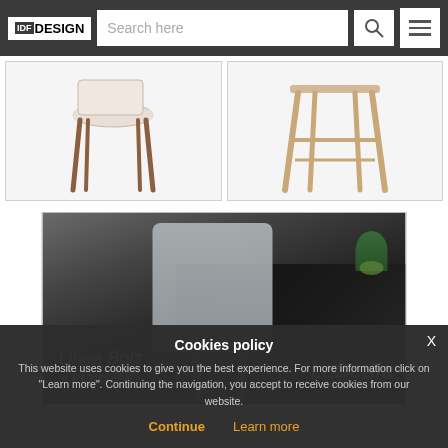IDF DESIGN — Search here [search icon] [menu icon]
[Figure (photo): Two product images side by side: left shows a wooden chair with white seat, right shows a wooden stool/chair legs from behind, beige/natural wood tones, light background]
[Figure (photo): Advertisement banner for LaSedia Bolzicco. Dark moody photo of a modern chair with light grey back and wooden legs next to a dark matte table. Text overlay: 'Linea Bolz in FENIX NTM' on left, 'LaSedia BOLZICCO' logo on right.]
Cookies policy
This website uses cookies to give you the best experience. For more information click on "Learn more". Continuing the navigation, you accept to receive cookies from our website.
Continue    Learn more